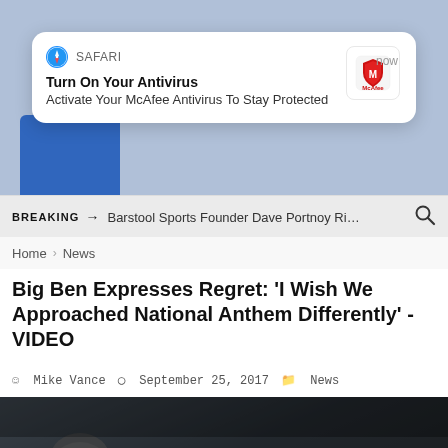[Figure (screenshot): Safari browser push notification overlay reading 'Turn On Your Antivirus – Activate Your McAfee Antivirus To Stay Protected' with McAfee logo, displayed over a partially visible webpage background with a blue shape.]
BREAKING → Barstool Sports Founder Dave Portnoy Ri…
Home › News
Big Ben Expresses Regret: 'I Wish We Approached National Anthem Differently' - VIDEO
Mike Vance   September 25, 2017   News
[Figure (photo): Photo of NFL players in Pittsburgh Steelers white uniforms, appearing to be on the sideline or in a tunnel, dark background.]